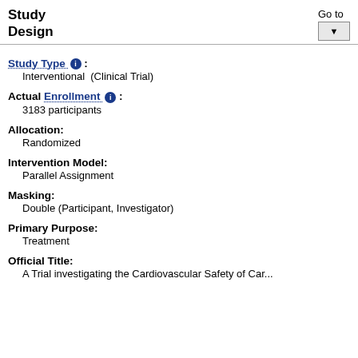Study Design
Go to
Study Type :
Interventional  (Clinical Trial)
Actual Enrollment :
3183 participants
Allocation:
Randomized
Intervention Model:
Parallel Assignment
Masking:
Double (Participant, Investigator)
Primary Purpose:
Treatment
Official Title:
A Trial investigating the Cardiovascular Safety of Car...